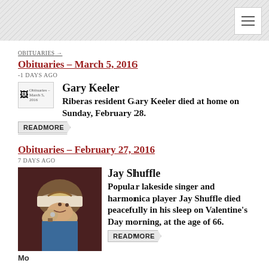Navigation menu
OBITUARIES →
Obituaries – March 5, 2016
-1 DAYS AGO
[Figure (photo): Broken image placeholder for Obituaries – March 5, 2016]
Gary Keeler
Riberas resident Gary Keeler died at home on Sunday, February 28.
READMORE
Obituaries – February 27, 2016
7 DAYS AGO
[Figure (photo): Photo of Jay Shuffle, a man wearing a white hat, holding a harmonica to his mouth]
Jay Shuffle
Popular lakeside singer and harmonica player Jay Shuffle died peacefully in his sleep on Valentine's Day morning, at the age of 66.
READMORE
More...